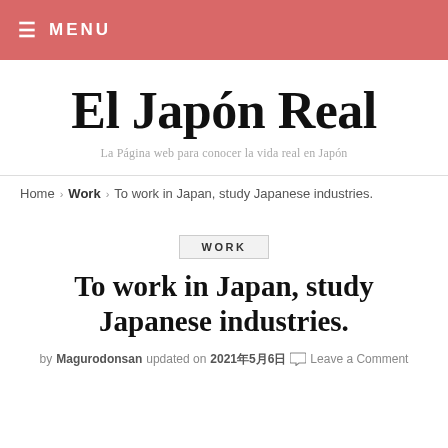≡ MENU
El Japón Real
La Página web para conocer la vida real en Japón
Home › Work › To work in Japan, study Japanese industries.
WORK
To work in Japan, study Japanese industries.
by Magurodonsan updated on 2021年5月6日 💬 Leave a Comment